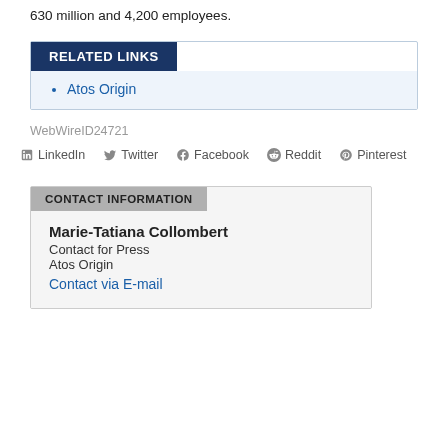630 million and 4,200 employees.
RELATED LINKS
Atos Origin
WebWireID24721
LinkedIn  Twitter  Facebook  Reddit  Pinterest
CONTACT INFORMATION
Marie-Tatiana Collombert
Contact for Press
Atos Origin
Contact via E-mail